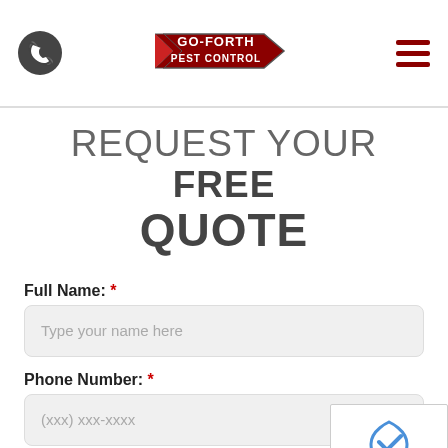Go-Forth Pest Control — navigation header with phone icon, logo, and menu
REQUEST YOUR FREE QUOTE
Full Name: *
Type your name here
Phone Number: *
(xxx) xxx-xxxx
il: *
email@location.com